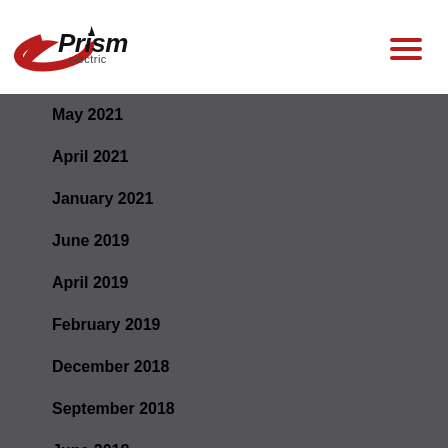Prism Electric
May 2021
April 2021
January 2021
June 2019
April 2019
February 2019
December 2018
September 2018
June 2018
April 2018